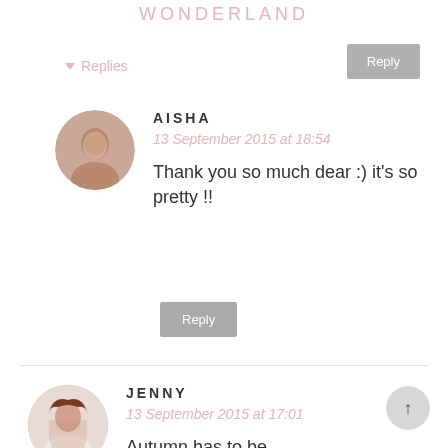WONDERLAND
▼ Replies
Reply
AISHA
13 September 2015 at 18:54
Thank you so much dear :) it's so pretty !!
Reply
JENNY
13 September 2015 at 17:01
Autumn has to be